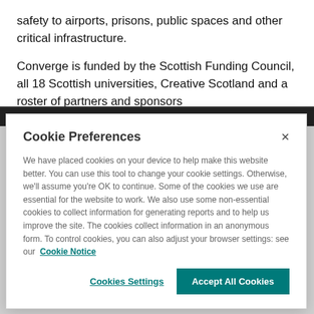safety to airports, prisons, public spaces and other critical infrastructure.
Converge is funded by the Scottish Funding Council, all 18 Scottish universities, Creative Scotland and a roster of partners and sponsors
[Figure (screenshot): Dark image strip partially visible behind cookie modal]
Cookie Preferences
We have placed cookies on your device to help make this website better. You can use this tool to change your cookie settings. Otherwise, we'll assume you're OK to continue. Some of the cookies we use are essential for the website to work. We also use some non-essential cookies to collect information for generating reports and to help us improve the site. The cookies collect information in an anonymous form. To control cookies, you can also adjust your browser settings: see our Cookie Notice
Cookies Settings
Accept All Cookies